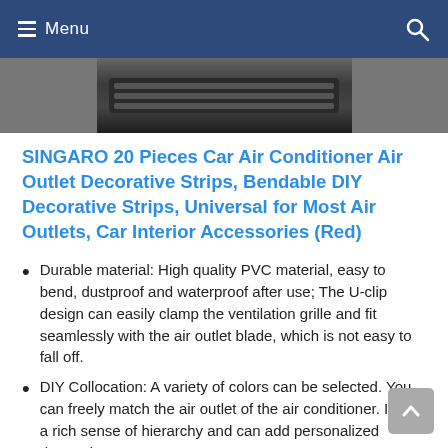Menu
[Figure (photo): Partial product image showing car air conditioner vent decorative strips — dark background with visible vent slats]
SINGARO 20 Pieces Car Air Conditioner Air Outlet Decorative Strips, Bendable DIY Decorative Strips, Universal for Most Air Outlets, Car Interior Accessories (Red)
Durable material: High quality PVC material, easy to bend, dustproof and waterproof after use; The U-clip design can easily clamp the ventilation grille and fit seamlessly with the air outlet blade, which is not easy to fall off.
DIY Collocation: A variety of colors can be selected. You can freely match the air outlet of the air conditioner. It has a rich sense of hierarchy and can add personalized decoration to your car